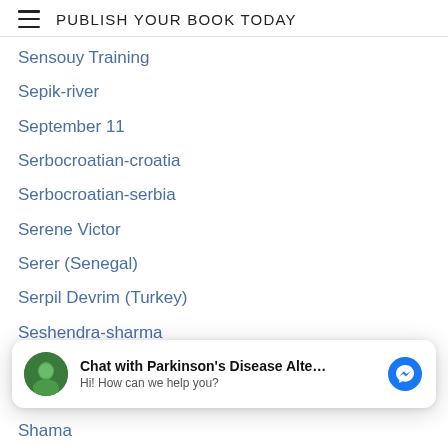PUBLISH YOUR BOOK TODAY
Sensouy Training
Sepik-river
September 11
Serbocroatian-croatia
Serbocroatian-serbia
Serene Victor
Serer (Senegal)
Serpil Devrim (Turkey)
Seshendra-sharma
Setting-goals
Shae-savoy
Shaka-kendo-rich-hart
Shalom Aleichem
Shalom-hebrew
[Figure (screenshot): Chat popup: avatar with green circle, bold text 'Chat with Parkinson's Disease Alte...' and subtext 'Hi! How can we help you?', blue Messenger icon]
Shamanistic-path
Shama